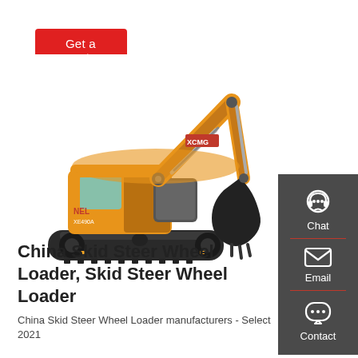Get a quote
[Figure (photo): Yellow XCMG tracked excavator on white background, shown in side profile with arm extended and bucket lowered]
China Skid Steer Wheel Loader, Skid Steer Wheel Loader
China Skid Steer Wheel Loader manufacturers - Select 2021